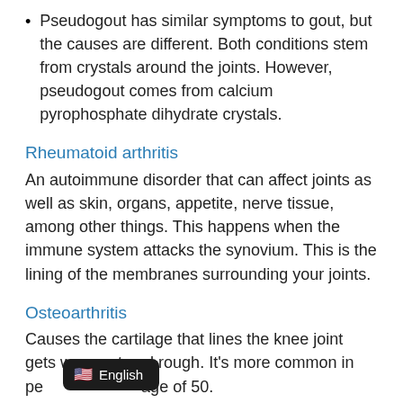Pseudogout has similar symptoms to gout, but the causes are different. Both conditions stem from crystals around the joints. However, pseudogout comes from calcium pyrophosphate dihydrate crystals.
Rheumatoid arthritis
An autoimmune disorder that can affect joints as well as skin, organs, appetite, nerve tissue, among other things. This happens when the immune system attacks the synovium. This is the lining of the membranes surrounding your joints.
Osteoarthritis
Causes the cartilage that lines the knee joint gets worn out and rough. It's more common in people over the age of 50.